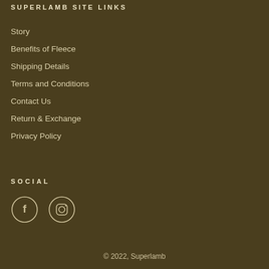SUPERLAMB SITE LINKS
Story
Benefits of Fleece
Shipping Details
Terms and Conditions
Contact Us
Return & Exchange
Privacy Policy
SOCIAL
[Figure (illustration): Facebook and Instagram icon circles outlined in light tan color on dark brown background]
© 2022, Superlamb